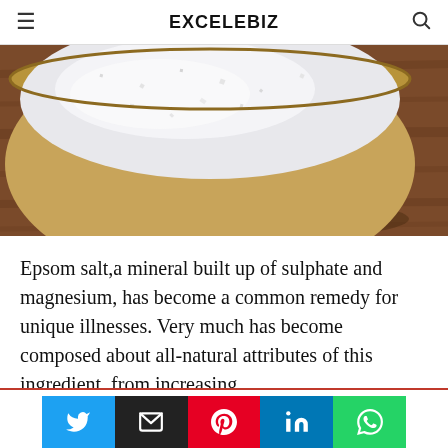EXCELEBIZ
[Figure (photo): Close-up photo of Epsom salt (coarse white crystals) in a wooden bowl on a rustic wooden surface]
Epsom salt,a mineral built up of sulphate and magnesium, has become a common remedy for unique illnesses. Very much has become composed about all-natural attributes of this ingredient, from increasing
This website uses cookies.
[Figure (infographic): Social media share buttons: Twitter, Email, Pinterest, LinkedIn, WhatsApp]